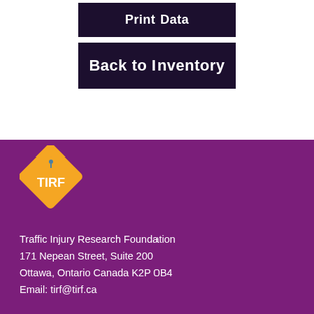Print Data
Back to Inventory
[Figure (logo): TIRF orange diamond-shaped logo with white text 'TIRF' and a pin/arrow icon above]
Traffic Injury Research Foundation
171 Nepean Street, Suite 200
Ottawa, Ontario Canada K2P 0B4
Email: tirf@tirf.ca